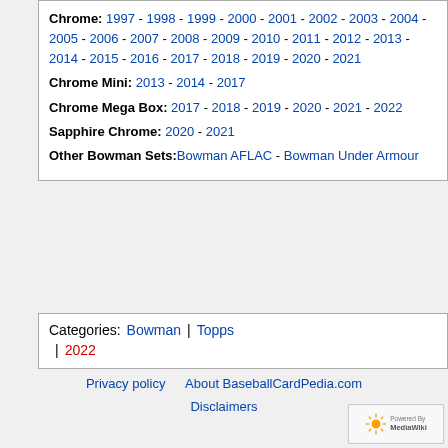Chrome: 1997 - 1998 - 1999 - 2000 - 2001 - 2002 - 2003 - 2004 - 2005 - 2006 - 2007 - 2008 - 2009 - 2010 - 2011 - 2012 - 2013 - 2014 - 2015 - 2016 - 2017 - 2018 - 2019 - 2020 - 2021
Chrome Mini: 2013 - 2014 - 2017
Chrome Mega Box: 2017 - 2018 - 2019 - 2020 - 2021 - 2022
Sapphire Chrome: 2020 - 2021
Other Bowman Sets: Bowman AFLAC - Bowman Under Armour
Categories: Bowman | Topps | 2022
Privacy policy   About BaseballCardPedia.com   Disclaimers